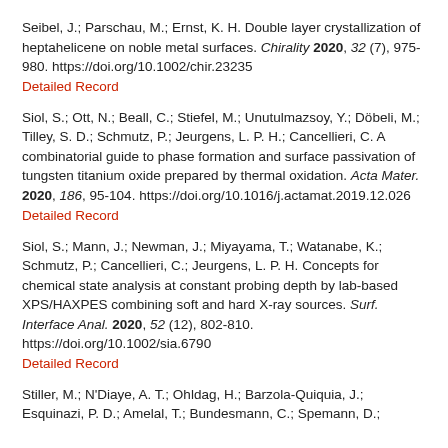Seibel, J.; Parschau, M.; Ernst, K. H. Double layer crystallization of heptahelicene on noble metal surfaces. Chirality 2020, 32 (7), 975-980. https://doi.org/10.1002/chir.23235
Detailed Record
Siol, S.; Ott, N.; Beall, C.; Stiefel, M.; Unutulmazsoy, Y.; Döbeli, M.; Tilley, S. D.; Schmutz, P.; Jeurgens, L. P. H.; Cancellieri, C. A combinatorial guide to phase formation and surface passivation of tungsten titanium oxide prepared by thermal oxidation. Acta Mater. 2020, 186, 95-104. https://doi.org/10.1016/j.actamat.2019.12.026
Detailed Record
Siol, S.; Mann, J.; Newman, J.; Miyayama, T.; Watanabe, K.; Schmutz, P.; Cancellieri, C.; Jeurgens, L. P. H. Concepts for chemical state analysis at constant probing depth by lab-based XPS/HAXPES combining soft and hard X-ray sources. Surf. Interface Anal. 2020, 52 (12), 802-810. https://doi.org/10.1002/sia.6790
Detailed Record
Stiller, M.; N'Diaye, A. T.; Ohldag, H.; Barzola-Quiquia, J.; Esquinazi, P. D.; Amelal, T.; Bundesmann, C.; Spemann, D.;